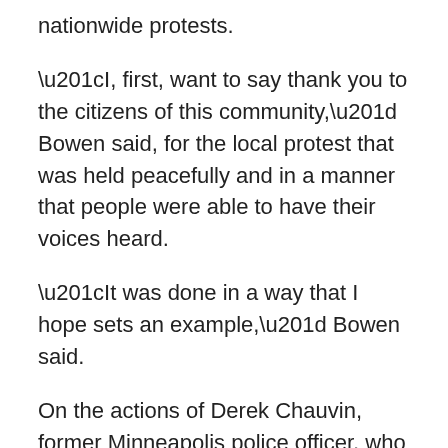nationwide protests.
“I, first, want to say thank you to the citizens of this community,” Bowen said, for the local protest that was held peacefully and in a manner that people were able to have their voices heard.
“It was done in a way that I hope sets an example,” Bowen said.
On the actions of Derek Chauvin, former Minneapolis police officer, who has since been charged with third-degree murder and manslaughter. Chauvin is seen in video of the incident kneeling on Floyd’s neck for 8 minutes.
The Hennepin County Medical Examiner released an autopsy report on June 2 and ruled that Floyd’s death